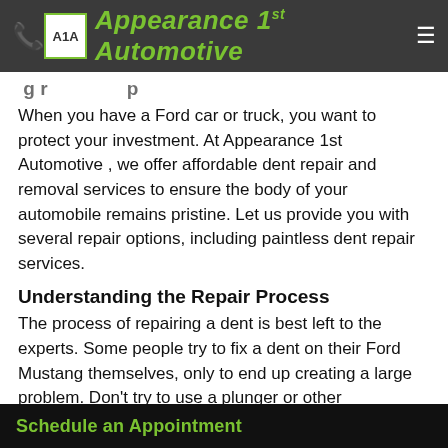Appearance 1st Automotive
[Ford Dent Repair — partial heading]
When you have a Ford car or truck, you want to protect your investment. At Appearance 1st Automotive , we offer affordable dent repair and removal services to ensure the body of your automobile remains pristine. Let us provide you with several repair options, including paintless dent repair services.
Understanding the Repair Process
The process of repairing a dent is best left to the experts. Some people try to fix a dent on their Ford Mustang themselves, only to end up creating a large problem. Don't try to use a plunger or other [implements], just let our
Schedule an Appointment